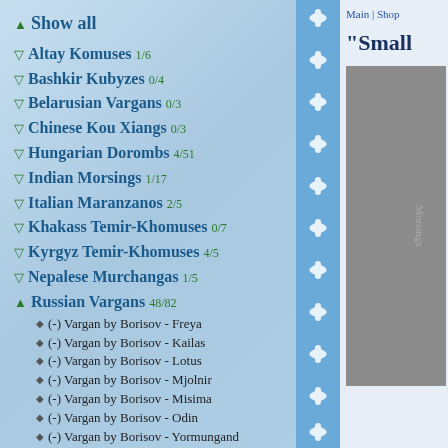▲ Show all
▽ Altay Komuses 1/6
▽ Bashkir Kubyzes 0/4
▽ Belarusian Vargans 0/3
▽ Chinese Kou Xiangs 0/3
▽ Hungarian Dorombs 4/51
▽ Indian Morsings 1/17
▽ Italian Maranzanos 2/5
▽ Khakass Temir-Khomuses 0/7
▽ Kyrgyz Temir-Khomuses 4/5
▽ Nepalese Murchangas 1/5
▲ Russian Vargans 48/82
(-) Vargan by Borisov - Freya
(-) Vargan by Borisov - Kailas
(-) Vargan by Borisov - Lotus
(-) Vargan by Borisov - Mjolnir
(-) Vargan by Borisov - Misima
(-) Vargan by Borisov - Odin
(-) Vargan by Borisov - Yormungand
(+) "Fairy Tale" vagran's music set, by the Glazyrin (8 notes)
(+) "Small phantom" russian vargan by
Main | Shop
"Small
[Figure (photo): Grey product image partially visible on right side]